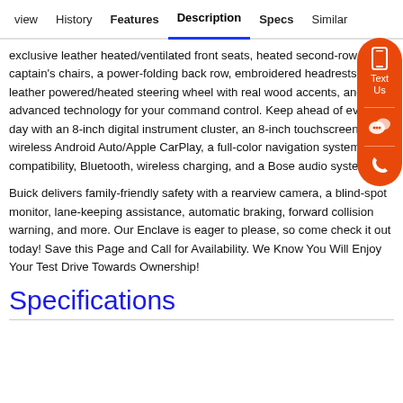view  History  Features  Description  Specs  Similar
exclusive leather heated/ventilated front seats, heated second-row captain's chairs, a power-folding back row, embroidered headrests, a leather powered/heated steering wheel with real wood accents, and advanced technology for your command control. Keep ahead of every day with an 8-inch digital instrument cluster, an 8-inch touchscreen, wireless Android Auto/Apple CarPlay, a full-color navigation system, WiFi compatibility, Bluetooth, wireless charging, and a Bose audio system.
Buick delivers family-friendly safety with a rearview camera, a blind-spot monitor, lane-keeping assistance, automatic braking, forward collision warning, and more. Our Enclave is eager to please, so come check it out today! Save this Page and Call for Availability. We Know You Will Enjoy Your Test Drive Towards Ownership!
Specifications